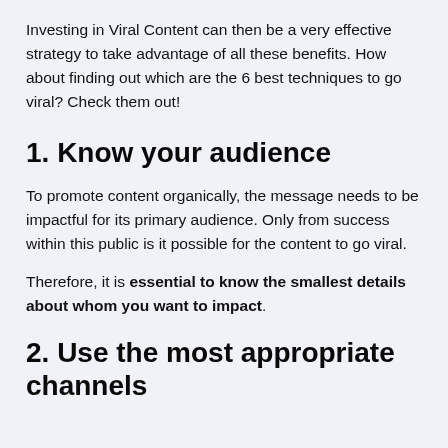Investing in Viral Content can then be a very effective strategy to take advantage of all these benefits. How about finding out which are the 6 best techniques to go viral? Check them out!
1. Know your audience
To promote content organically, the message needs to be impactful for its primary audience. Only from success within this public is it possible for the content to go viral.
Therefore, it is essential to know the smallest details about whom you want to impact.
2. Use the most appropriate channels